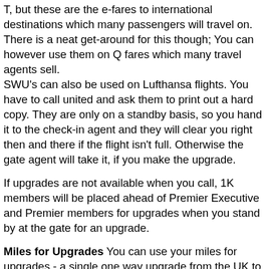T, but these are the e-fares to international destinations which many passengers will travel on. There is a neat get-around for this though; You can however use them on Q fares which many travel agents sell. SWU's can also be used on Lufthansa flights. You have to call united and ask them to print out a hard copy. They are only on a standby basis, so you hand it to the check-in agent and they will clear you right then and there if the flight isn't full. Otherwise the gate agent will take it, if you make the upgrade.
If upgrades are not available when you call, 1K members will be placed ahead of Premier Executive and Premier members for upgrades when you stand by at the gate for an upgrade.
Miles for Upgrades You can use your miles for upgrades - a single one way upgrade from the UK to the US or from the US to Australia is 30,000 if you bought an M or H class ticket, or 15,000 with a Y or B class.
These are good value, and are available to members of